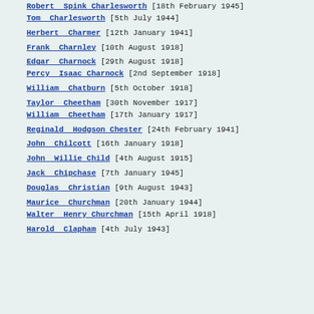Robert Spink Charlesworth [18th February 1945]
Tom Charlesworth [5th July 1944]
Herbert Charmer [12th January 1941]
Frank Charnley [10th August 1918]
Edgar Charnock [29th August 1918]
Percy Isaac Charnock [2nd September 1918]
William Chatburn [5th October 1918]
Taylor Cheetham [30th November 1917]
William Cheetham [17th January 1917]
Reginald Hodgson Chester [24th February 1941]
John Chilcott [16th January 1918]
John Willie Child [4th August 1915]
Jack Chipchase [7th January 1945]
Douglas Christian [9th August 1943]
Maurice Churchman [20th January 1944]
Walter Henry Churchman [15th April 1918]
Harold Clapham [4th July 1943]